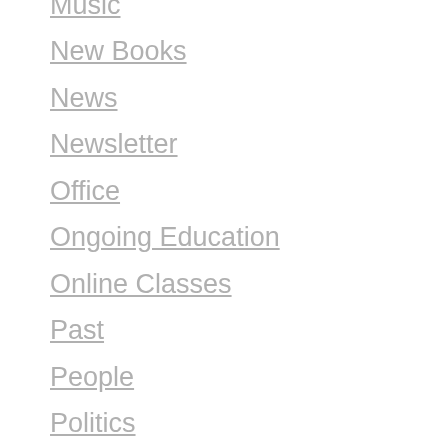Music
New Books
News
Newsletter
Office
Ongoing Education
Online Classes
Past
People
Politics
Positive Thoughts
Prayer
Promoting
Publishing
Reading
Regrets
Reminiscing
Research
Review